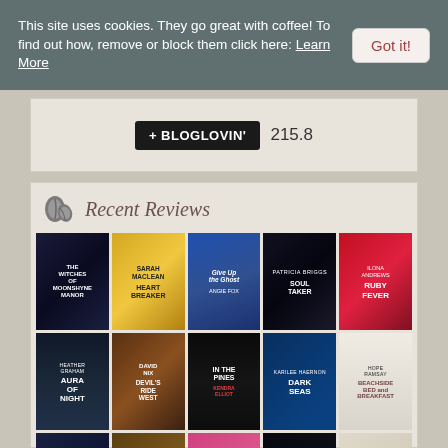This site uses cookies. They go great with coffee! To find out how, remove or block them click here: Learn More
[Figure (screenshot): Got it! button for cookie consent]
[Figure (screenshot): Bloglovin follow button with count 215.8]
Recent Reviews
[Figure (illustration): Grid of book covers for recent reviews: Row 1: The Witches of Moonshyne Manor, Sarah MacLean Heartbreaker, Give Up the Ghost by Angie Fox, Patricia Briggs Soul Taken, Ilona Andrews Ruby Fever. Row 2: Heather Graham Aura of Night, David Nix Devil's Ride West, In the Pines by Kendra Elliot, Dark Seas by Karilee Haernon, Hope Ramsay Beachside Bed and Breakfast. Row 3 (partial): Additional book covers.]